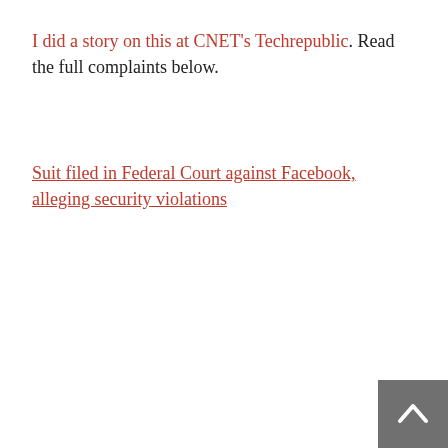I did a story on this at CNET's Techrepublic. Read the full complaints below.
Suit filed in Federal Court against Facebook, alleging security violations